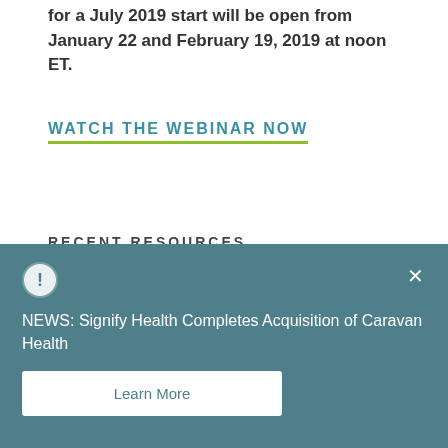for a July 2019 start will be open from January 22 and February 19, 2019 at noon ET.
WATCH THE WEBINAR NOW
RECENT RESOURCES
VIEW ALL RESOURCES
NEWS: Signify Health Completes Acquisition of Caravan Health
Learn More